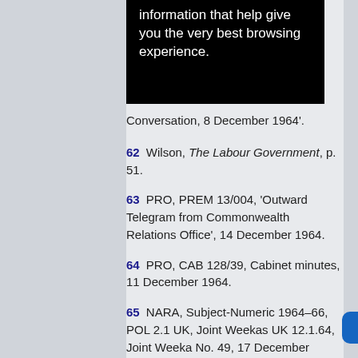information that help give you the very best browsing experience.
Conversation, 8 December 1964'.
62  Wilson, The Labour Government, p. 51.
63  PRO, PREM 13/004, 'Outward Telegram from Commonwealth Relations Office', 14 December 1964.
64  PRO, CAB 128/39, Cabinet minutes, 11 December 1964.
65  NARA, Subject-Numeric 1964–66, POL 2.1 UK, Joint Weekas UK 12.1.64, Joint Weeka No. 49, 17 December 1964.
66  NARA, Subject-Numeric 1964–66, POL 7 UK, Visits and Meetings 12.1.64, Johnson to Wilson, 9 December 1964.
67  NARA, Presidential and Secretary of